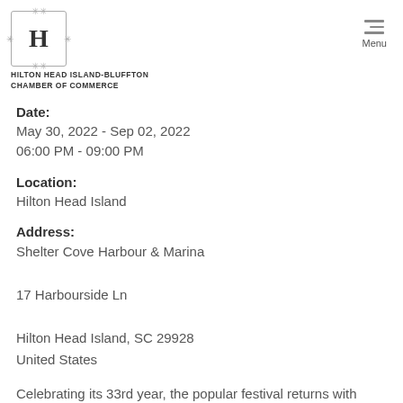[Figure (logo): Hilton Head Island-Bluffton Chamber of Commerce logo: decorative bordered box with letter H, small ornamental flourishes, organization name below]
Date:
May 30, 2022 - Sep 02, 2022
06:00 PM - 09:00 PM
Location:
Hilton Head Island
Address:
Shelter Cove Harbour & Marina
17 Harbourside Ln
Hilton Head Island, SC 29928
United States
Celebrating its 33rd year, the popular festival returns with music from the beloved Shannon Tanner, kids activities